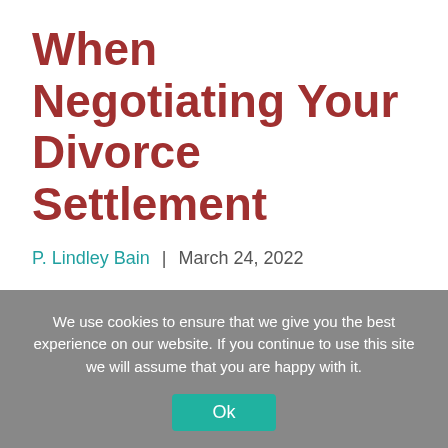When Negotiating Your Divorce Settlement
P. Lindley Bain | March 24, 2022
[Figure (illustration): Accessibility icon button — blue circle with white human figure silhouette]
We use cookies to ensure that we give you the best experience on our website. If you continue to use this site we will assume that you are happy with it.